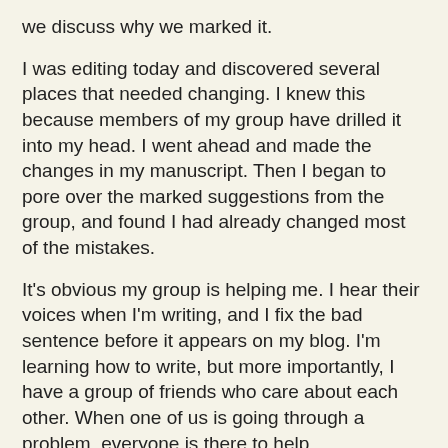we discuss why we marked it.
I was editing today and discovered several places that needed changing. I knew this because members of my group have drilled it into my head. I went ahead and made the changes in my manuscript. Then I began to pore over the marked suggestions from the group, and found I had already changed most of the mistakes.
It's obvious my group is helping me. I hear their voices when I'm writing, and I fix the bad sentence before it appears on my blog. I'm learning how to write, but more importantly, I have a group of friends who care about each other. When one of us is going through a problem, everyone is there to help.
Have you found a group yet? In our group, we have two published authors who lend experience. We have a beginner, but you'd never know it because of talent. Two of us are on the verge of greatness, and then there is me. In honor of President Hinckley and his 'B's, I listed a few of my own below.